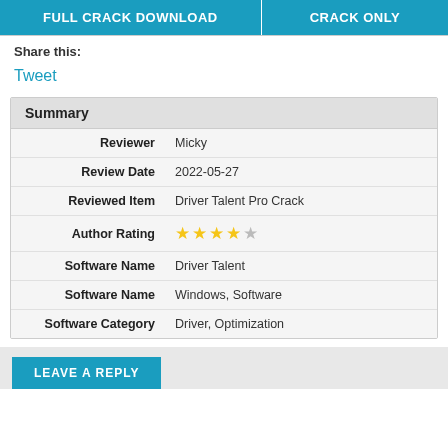[Figure (other): Two teal buttons side by side: FULL CRACK DOWNLOAD and CRACK ONLY]
Share this:
Tweet
| Field | Value |
| --- | --- |
| Reviewer | Micky |
| Review Date | 2022-05-27 |
| Reviewed Item | Driver Talent Pro Crack |
| Author Rating | 4/5 stars |
| Software Name | Driver Talent |
| Software Name | Windows, Software |
| Software Category | Driver, Optimization |
LEAVE A REPLY